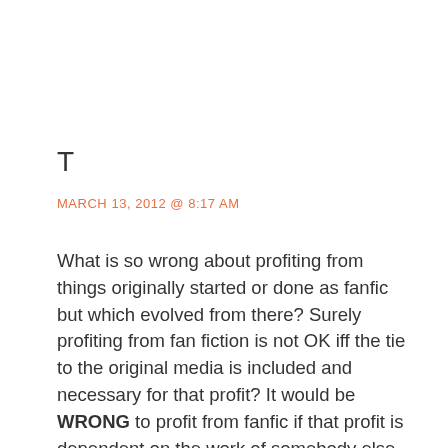T
MARCH 13, 2012 @ 8:17 AM
What is so wrong about profiting from things originally started or done as fanfic but which evolved from there? Surely profiting from fan fiction is not OK iff the tie to the original media is included and necessary for that profit? It would be WRONG to profit from fanfic if that profit is dependent on the work of somebody else. But if somebody writes a scene, a chapter, a work for a fanfic which they later file the numbers off so that nobody unaware of the connection detects it, why would it be wrong to profit from it? Just because the original inspiration came from somebody else? The writing, the work is still done by the person